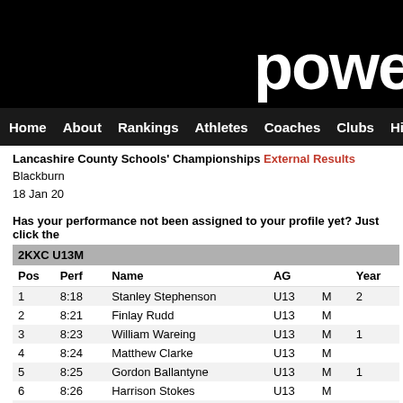powe
Home   About   Rankings   Athletes   Coaches   Clubs   Highlight
Lancashire County Schools' Championships External Results
Blackburn
18 Jan 20
Has your performance not been assigned to your profile yet? Just click the
2KXC U13M
| Pos | Perf | Name | AG |  | Year |
| --- | --- | --- | --- | --- | --- |
| 1 | 8:18 | Stanley Stephenson | U13 | M | 2 |
| 2 | 8:21 | Finlay Rudd | U13 | M |  |
| 3 | 8:23 | William Wareing | U13 | M | 1 |
| 4 | 8:24 | Matthew Clarke | U13 | M |  |
| 5 | 8:25 | Gordon Ballantyne | U13 | M | 1 |
| 6 | 8:26 | Harrison Stokes | U13 | M |  |
| 7 | 8:28 | Harry Smith | U13 | M |  |